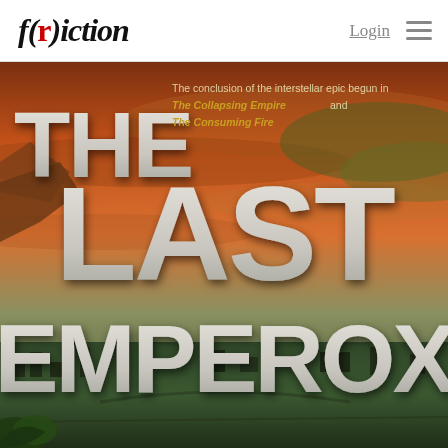f(r)iction — Login ☰
[Figure (illustration): Book cover of 'The Last Emperox' showing a science fiction landscape with dramatic orange and green planetary/alien sky, large stylized white-gray text 'THE LAST EMPEROX' dominating the cover, with subtitle text 'The conclusion of the interstellar epic begun in The Collapsing Empire and The Consuming Fire']